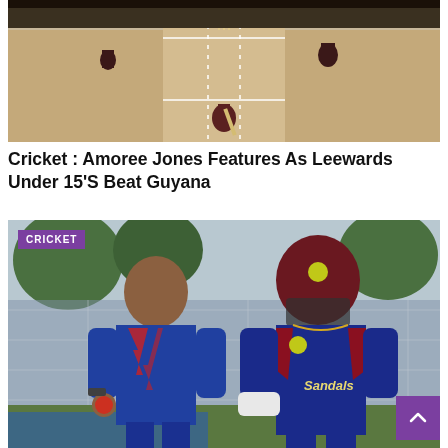[Figure (photo): Cricket match photo showing a batsman at the crease on a cricket pitch, viewed from behind the bowler's end. The pitch is visible with white dotted crease lines. Players in dark/maroon uniforms are visible.]
Cricket : Amoree Jones Features As Leewards Under 15'S Beat Guyana
[Figure (photo): Cricket coaching photo showing two men in West Indies Sandals-sponsored cricket gear (navy blue and red uniforms with maroon helmet) on a cricket ground. A purple CRICKET badge label is overlaid in the top left corner.]